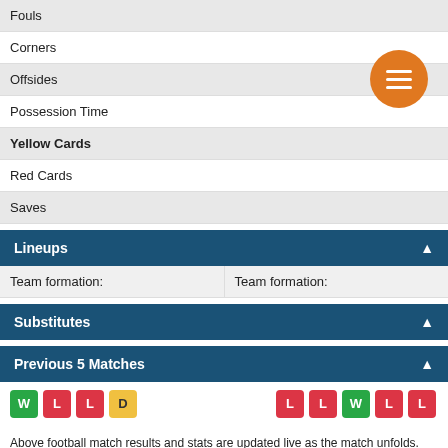Fouls
Corners
Offsides
Possession Time
Yellow Cards
Red Cards
Saves
Lineups
| Team formation: | Team formation: |
| --- | --- |
Substitutes
Previous 5 Matches
W L L D (left) / L L W L L (right)
Above football match results and stats are updated live as the match unfolds. Data such as shots, shots on goal, passes, corners, will become available after the match between Bjarg and Sogndal was played. The “Last 5” section shows each team’s form for the past 5 games played individually, but more details and statistics can be found in the Bjarg vs Sogndal H2H section.
About Us | Webmasters | Network | SoccerStats247